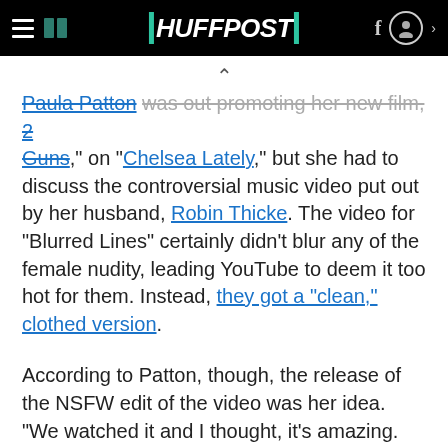HUFFPOST
Paula Patton was out promoting her new film, 2 Guns, on "Chelsea Lately," but she had to discuss the controversial music video put out by her husband, Robin Thicke. The video for "Blurred Lines" certainly didn't blur any of the female nudity, leading YouTube to deem it too hot for them. Instead, they got a "clean," clothed version.
According to Patton, though, the release of the NSFW edit of the video was her idea. "We watched it and I thought, it's amazing. It's beautiful," she said. "I like it more than the